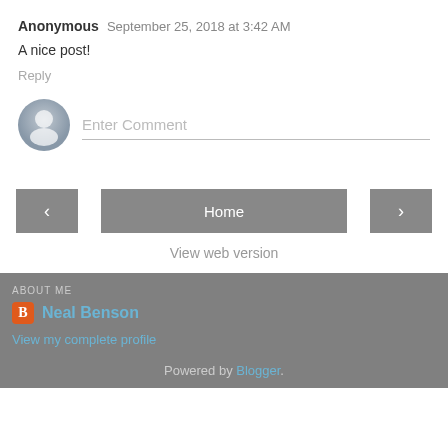Anonymous  September 25, 2018 at 3:42 AM
A nice post!
Reply
[Figure (other): User avatar placeholder icon (grey silhouette) next to Enter Comment input field]
Home
View web version
ABOUT ME
Neal Benson
View my complete profile
Powered by Blogger.